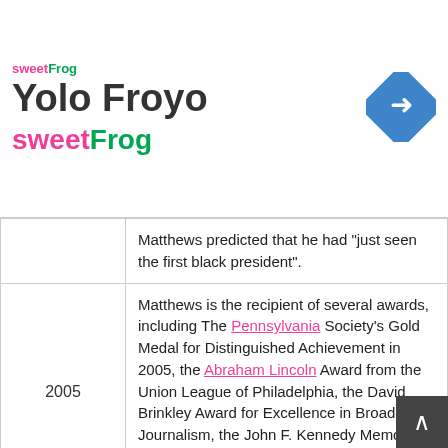[Figure (logo): sweetFrog Yolo Froyo advertisement banner with sweetFrog logo, text 'Yolo Froyo' and 'sweetFrog', and a blue navigation arrow icon]
Matthews predicted that he had "just seen the first black president".
| Year | Content |
| --- | --- |
| 2005 | Matthews is the recipient of several awards, including The Pennsylvania Society's Gold Medal for Distinguished Achievement in 2005, the Abraham Lincoln Award from the Union League of Philadelphia, the David Brinkley Award for Excellence in Broadcast Journalism, the John F. Kennedy Memorial Award, and the 2016 Tip O'Neill Irish Diaspora Award. |
| 2008 | The Huffington Post reported on Matthews' emotional expressions of support for Barack Obama during the 2008 Presidential election, quoting him as saying "I have to tell you, you know, it's part of reporting this case, this election, the feeling most people get when they hear Barack Obama's speech. My, I felt this thrill going... |